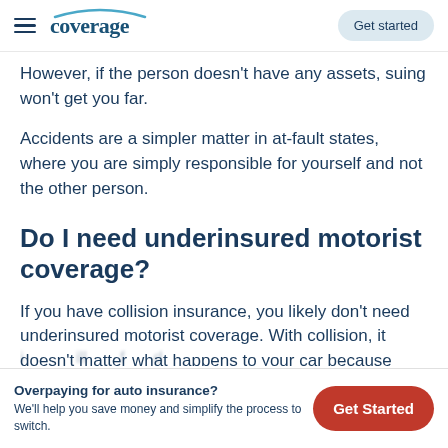coverage — Get started
However, if the person doesn't have any assets, suing won't get you far.
Accidents are a simpler matter in at-fault states, where you are simply responsible for yourself and not the other person.
Do I need underinsured motorist coverage?
If you have collision insurance, you likely don't need underinsured motorist coverage. With collision, it doesn't matter what happens to your car because you.
Overpaying for auto insurance? We'll help you save money and simplify the process to switch.